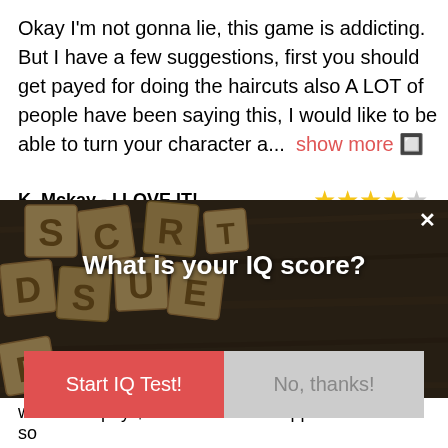Okay I'm not gonna lie, this game is addicting. But I have a few suggestions, first you should get payed for doing the haircuts also A LOT of people have been saying this, I would like to be able to turn your character a...  show more 🔲
K. Mckay - I LOVE IT!
[Figure (screenshot): A popup advertisement over a wooden background with scattered letter tiles. The popup asks 'What is your IQ score?' with two buttons: 'Start IQ Test!' (red) and 'No, thanks!' (gray). There is an X close button in the top right corner and an info icon in the bottom right.]
worth it to pay $3.99 it's the best app ever! It is so so